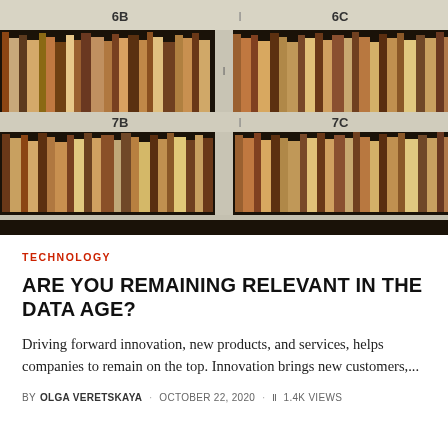[Figure (photo): A library bookshelf with rows of books, labeled with shelf markers 6B, 6C, 7B, 7C. Two shelves visible, packed with books of various colors and sizes.]
TECHNOLOGY
ARE YOU REMAINING RELEVANT IN THE DATA AGE?
Driving forward innovation, new products, and services, helps companies to remain on the top. Innovation brings new customers,...
BY OLGA VERETSKAYA · OCTOBER 22, 2020 · 1.4K VIEWS